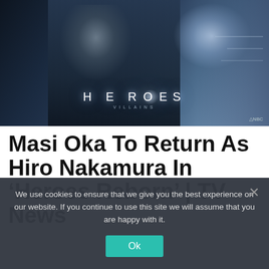[Figure (photo): Heroes Villains TV show promotional image featuring an Asian man in a suit with glasses raising his hand, with the HEROES VILLAINS logo and NBC branding in the lower right]
Masi Oka To Return As Hiro Nakamura In ‘Heroes Reborn’ | TV News
We use cookies to ensure that we give you the best experience on our website. If you continue to use this site we will assume that you are happy with it.